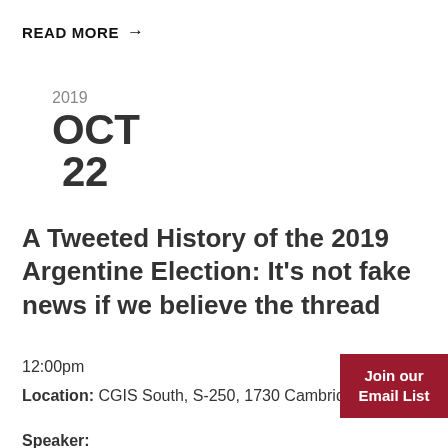READ MORE →
2019
OCT
22
A Tweeted History of the 2019 Argentine Election: It's not fake news if we believe the thread
12:00pm
Location: CGIS South, S-250, 1730 Cambridge Street
Join our Email List
Speaker: